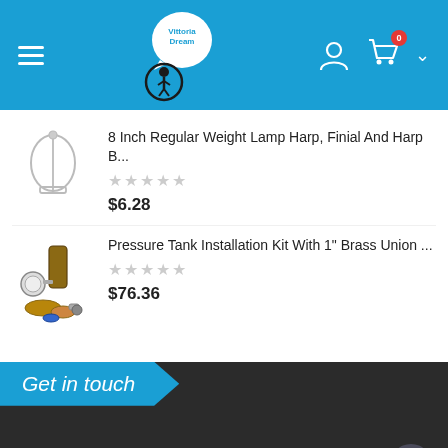[Figure (screenshot): E-commerce website header with hamburger menu, Vittoria Dream logo, user icon, shopping cart with 0 badge, and dropdown chevron on blue background]
8 Inch Regular Weight Lamp Harp, Finial And Harp B...
☆☆☆☆☆
$6.28
Pressure Tank Installation Kit With 1" Brass Union ...
☆☆☆☆☆
$76.36
Get in touch
CONTACT INFO